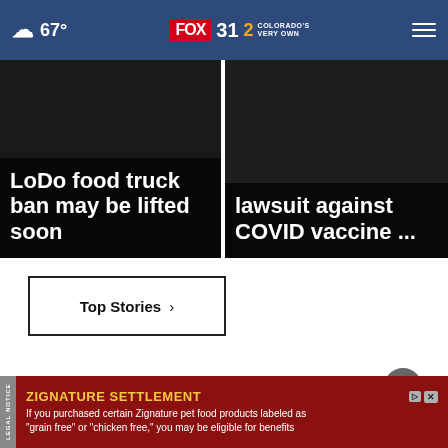67° FOX 31 2 Colorado's Very Own
[Figure (screenshot): Dark news thumbnail showing 'LoDo food truck ban may be lifted soon' text overlay on dark background]
[Figure (screenshot): Dark news thumbnail showing 'lawsuit against COVID vaccine ...' text overlay on dark background]
Top Stories ›
[Figure (other): Close (X) circular button in dark gray]
LEGAL NOTICE ZIGNATURE SETTLEMENT If you purchased certain Zignature pet food products labeled as "grain free" or "chicken free," you may be eligible for benefits